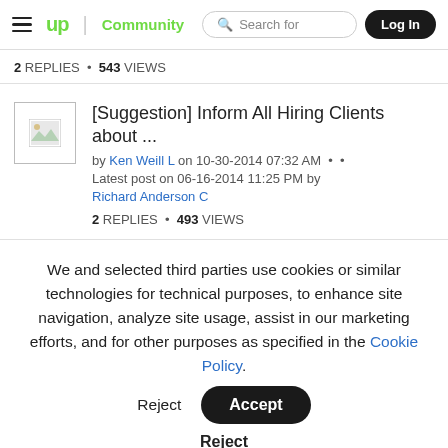up Community | Search for | Log In
2 REPLIES • 543 VIEWS
[Suggestion] Inform All Hiring Clients about ...
by Ken Weill L on 10-30-2014 07:32 AM
Latest post on 06-16-2014 11:25 PM by Richard Anderson C
2 REPLIES • 493 VIEWS
We and selected third parties use cookies or similar technologies for technical purposes, to enhance site navigation, analyze site usage, assist in our marketing efforts, and for other purposes as specified in the Cookie Policy.
Accept
Reject